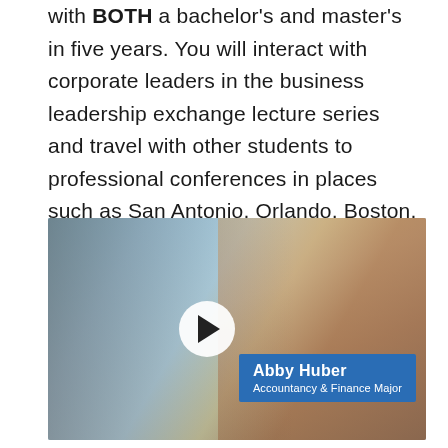with BOTH a bachelor's and master's in five years. You will interact with corporate leaders in the business leadership exchange lecture series and travel with other students to professional conferences in places such as San Antonio, Orlando, Boston, San Diego, Nashville, and more. Over the past 10 years, C-SC accountancy and finance students have received more than $85,000 from IMA national scholarships.
[Figure (photo): Video thumbnail showing a young woman (Abby Huber) smiling outdoors in front of a brick building, with a play button overlay and a blue name tag reading 'Abby Huber, Accountancy & Finance Major'.]